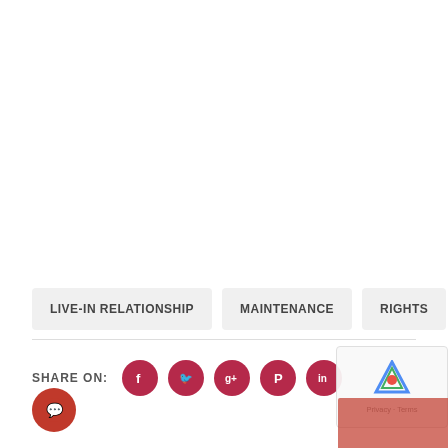LIVE-IN RELATIONSHIP
MAINTENANCE
RIGHTS
SHARE ON: